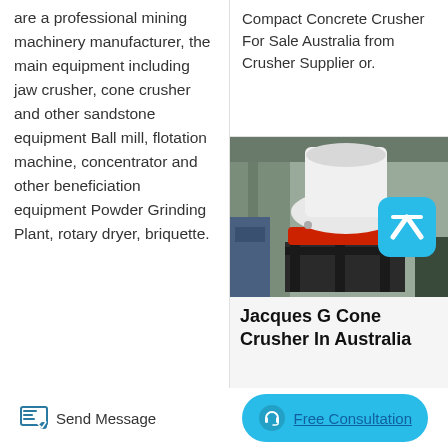are a professional mining machinery manufacturer, the main equipment including jaw crusher, cone crusher and other sandstone equipment Ball mill, flotation machine, concentrator and other beneficiation equipment Powder Grinding Plant, rotary dryer, briquette.
Compact Concrete Crusher For Sale Australia from Crusher Supplier or.
[Figure (photo): Industrial cone crusher machine (white and red) in a warehouse/factory setting with a cyan scroll-up button overlay]
Jacques G Cone Crusher In Australia
Send Message
Free Consultation